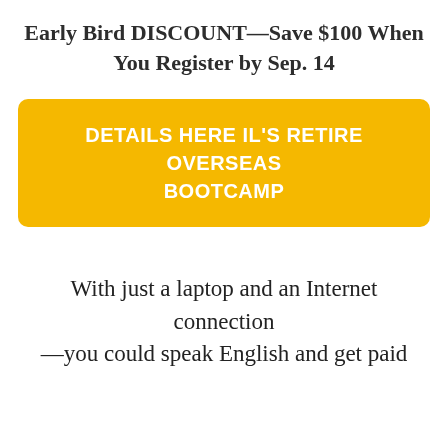Early Bird DISCOUNT—Save $100 When You Register by Sep. 14
[Figure (other): Yellow call-to-action button with white bold uppercase text reading: DETAILS HERE IL'S RETIRE OVERSEAS BOOTCAMP]
With just a laptop and an Internet connection—you could speak English and get paid